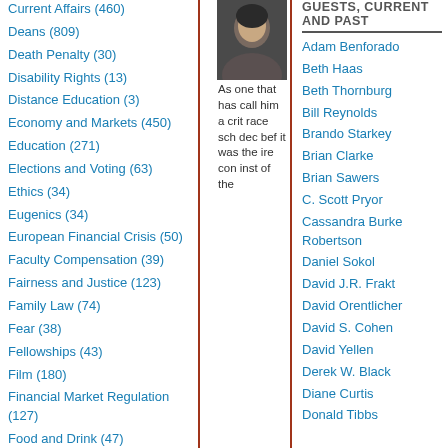Current Affairs (460)
Deans (809)
Death Penalty (30)
Disability Rights (13)
Distance Education (3)
Economy and Markets (450)
Education (271)
Elections and Voting (63)
Ethics (34)
Eugenics (34)
European Financial Crisis (50)
Faculty Compensation (39)
Fairness and Justice (123)
Family Law (74)
Fear (38)
Fellowships (43)
Film (180)
Financial Market Regulation (127)
Food and Drink (47)
[Figure (photo): Headshot photo of a person]
As one that has called him a critical race scholar, decided before it was the irresponsible institution of the
GUESTS, CURRENT AND PAST
Adam Benforado
Beth Haas
Beth Thornburg
Bill Reynolds
Brando Starkey
Brian Clarke
Brian Sawers
C. Scott Pryor
Cassandra Burke Robertson
Daniel Sokol
David J.R. Frakt
David Orentlicher
David S. Cohen
David Yellen
Derek W. Black
Diane Curtis
Donald Tibbs